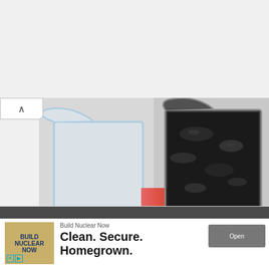We need to act now or we risk losing as a global leader in nuclear energy.
[Figure (photo): Two laboratory beakers side by side connected by a red arrow. Left beaker contains white powder (table sugar / sucrose). Right beaker contains black chunky material (pure carbon, C). Callout labels point to each: 'Table sugar (sucrose)' and 'Pure carbon, C'.]
Table sugar (sucrose)
Pure carbon, C
Build Nuclear Now
Clean. Secure. Homegrown.